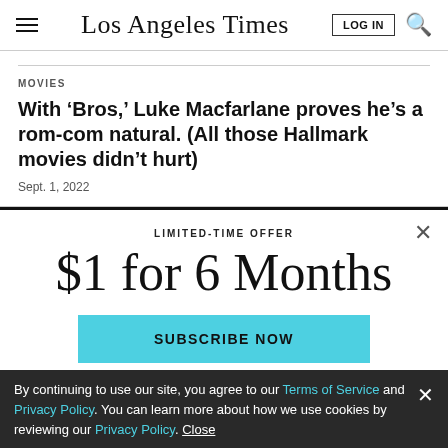Los Angeles Times
MOVIES
With ‘Bros,’ Luke Macfarlane proves he’s a rom-com natural. (All those Hallmark movies didn’t hurt)
Sept. 1, 2022
LIMITED-TIME OFFER
$1 for 6 Months
SUBSCRIBE NOW
By continuing to use our site, you agree to our Terms of Service and Privacy Policy. You can learn more about how we use cookies by reviewing our Privacy Policy. Close